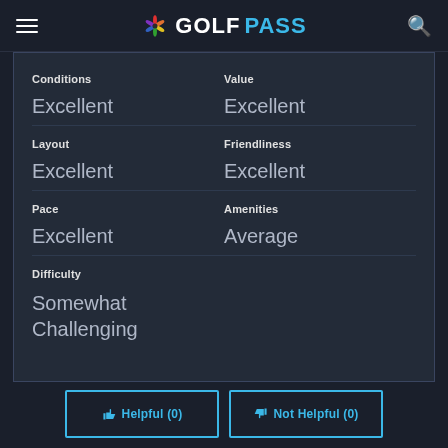GOLFPASS
| Category | Value |
| --- | --- |
| Conditions | Value |
| Excellent | Excellent |
| Layout | Friendliness |
| Excellent | Excellent |
| Pace | Amenities |
| Excellent | Average |
| Difficulty |  |
| Somewhat Challenging |  |
Helpful (0)
Not Helpful (0)